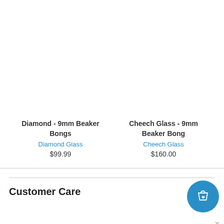Diamond - 9mm Beaker Bongs
Diamond Glass
$99.99
Cheech Glass - 9mm Beaker Bong
Cheech Glass
$160.00
Customer Care